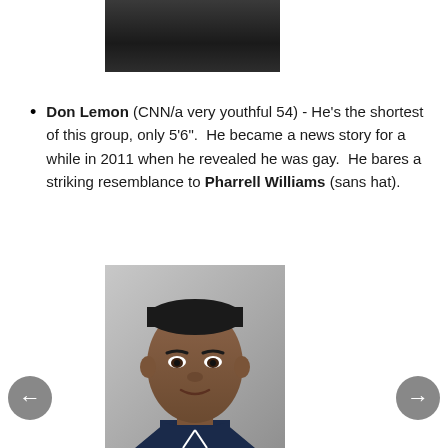[Figure (photo): Partial photo of a person in dark clothing, cropped at top of page]
Don Lemon (CNN/a very youthful 54) - He's the shortest of this group, only 5'6". He became a news story for a while in 2011 when he revealed he was gay. He bares a striking resemblance to Pharrell Williams (sans hat).
[Figure (photo): Headshot photo of Don Lemon against a gray background]